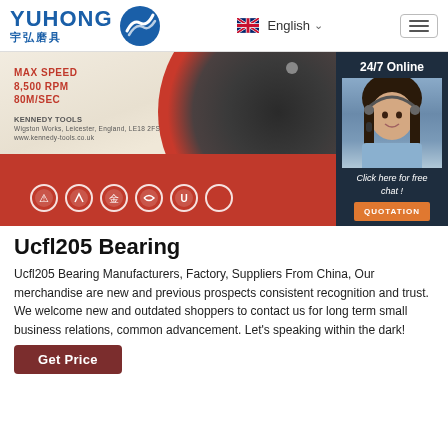YUHONG 宇弘磨具 — English navigation header
[Figure (photo): Red and grey cutting/grinding disc labeled MAX SPEED 8,500 RPM 80M/SEC, KENNEDY TOOLS, with safety icons on red lower half. Overlaid with a dark panel showing a customer service agent with headset, '24/7 Online', 'Click here for free chat!' and QUOTATION button.]
Ucfl205 Bearing
Ucfl205 Bearing Manufacturers, Factory, Suppliers From China, Our merchandise are new and previous prospects consistent recognition and trust. We welcome new and outdated shoppers to contact us for long term small business relations, common advancement. Let's speaking within the dark!
Get Price